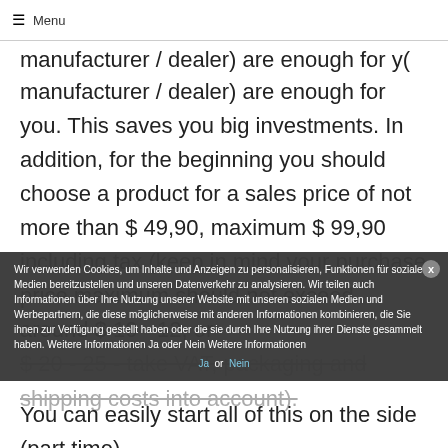☰ Menu
manufacturer / dealer) are enough for you. This saves you big investments. In addition, for the beginning you should choose a product for a sales price of not more than $ 49,90, maximum $ 99,90 including tax (keep in mind your purchase price maximum should not exceed around $ 10 - 12, or $ 20 - 25 - take VAT, packaging and shipping costs into account).
Wir verwenden Cookies, um Inhalte und Anzeigen zu personalisieren, Funktionen für soziale Medien bereitzustellen und unseren Datenverkehr zu analysieren. Wir teilen auch Informationen über Ihre Nutzung unserer Website mit unseren sozialen Medien und Werbepartnern, die diese möglicherweise mit anderen Informationen kombinieren, die Sie ihnen zur Verfügung gestellt haben oder die sie durch Ihre Nutzung ihrer Dienste gesammelt haben. Weitere Informationen Ja oder Nein Weitere Informationen Ja or Nein
You can easily start all of this on the side (part time).